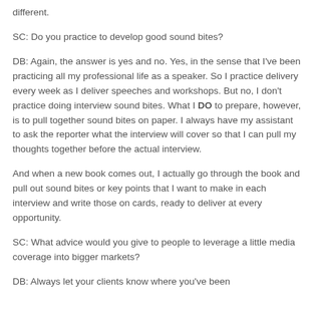different.
SC: Do you practice to develop good sound bites?
DB: Again, the answer is yes and no. Yes, in the sense that I've been practicing all my professional life as a speaker. So I practice delivery every week as I deliver speeches and workshops. But no, I don't practice doing interview sound bites. What I DO to prepare, however, is to pull together sound bites on paper. I always have my assistant to ask the reporter what the interview will cover so that I can pull my thoughts together before the actual interview.
And when a new book comes out, I actually go through the book and pull out sound bites or key points that I want to make in each interview and write those on cards, ready to deliver at every opportunity.
SC: What advice would you give to people to leverage a little media coverage into bigger markets?
DB: Always let your clients know where you've been